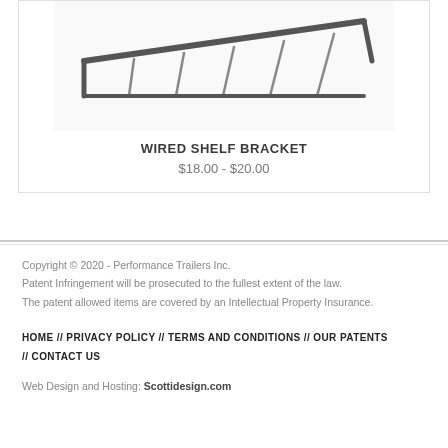[Figure (photo): Partial image of a wired shelf bracket product, showing the top edge and metal wire structure against a white background]
WIRED SHELF BRACKET
$18.00 - $20.00
Copyright © 2020 - Performance Trailers Inc.
Patent Infringement will be prosecuted to the fullest extent of the law.
The patent allowed items are covered by an Intellectual Property Insurance.
HOME // PRIVACY POLICY // TERMS AND CONDITIONS // OUR PATENTS // CONTACT US
Web Design and Hosting: Scottidesign.com